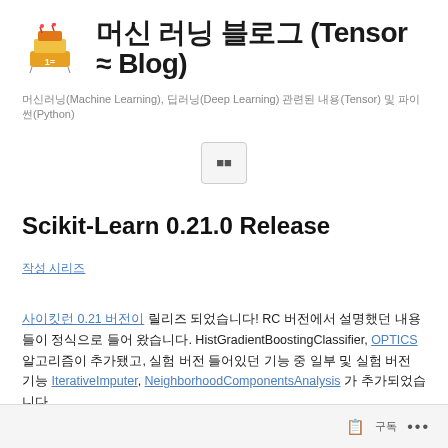머신 러닝 블로그 (Tensor ≈ Blog)
머신러닝(Machine Learning), 딥러닝(Deep Learning) 관련된 내용(Tensor) 및 파이썬(Python)
Scikit-Learn 0.21.0 Release
작성 시리즈
사이킷런 0.21 버전이 릴리즈 되었습니다! RC 버전에서 설명했던 내용들이 정식으로 들어 왔습니다. HistGradientBoostingClassifier, OPTICS 알고리즘이 추가됐고, 실험 버전 들어있던 기능 중 일부 및 실험 IterativeImputer, NeighborhoodComponentsAnalysis 가 추가되었습니다.